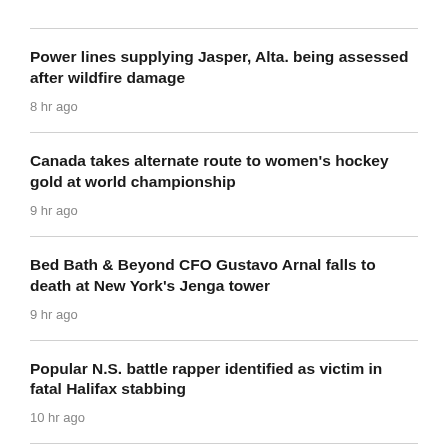Power lines supplying Jasper, Alta. being assessed after wildfire damage
8 hr ago
Canada takes alternate route to women's hockey gold at world championship
9 hr ago
Bed Bath & Beyond CFO Gustavo Arnal falls to death at New York's Jenga tower
9 hr ago
Popular N.S. battle rapper identified as victim in fatal Halifax stabbing
10 hr ago